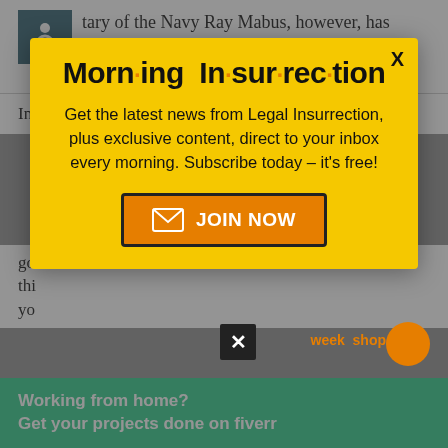tary of the Navy Ray Mabus, however, has taken issue with the report and has essentially rejected the findings.
In an interview with NPR, Mabus states that the...
[Figure (infographic): Morning Insurrection newsletter signup modal popup with yellow background, bold title 'Morn·ing In·sur·rec·tion', description text, and orange JOIN NOW button]
good idea and women will never be able to do this... you...
[Figure (infographic): Green banner ad: Working from home? Get your projects done on fiverr]